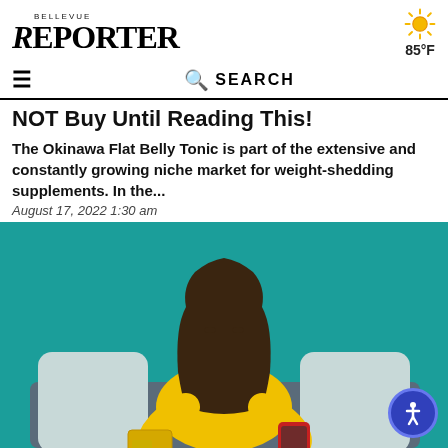BELLEVUE REPORTER  85°F
NOT Buy Until Reading This!
The Okinawa Flat Belly Tonic is part of the extensive and constantly growing niche market for weight-shedding supplements. In the...
August 17, 2022 1:30 am
[Figure (photo): Young woman in yellow sweater sitting on a couch between two grey pillows, holding a credit card and a red smartphone, looking at the phone. Teal/turquoise background.]